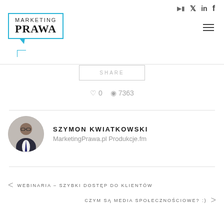[Figure (logo): Marketing Prawa logo with teal speech-bubble border, social icons (YouTube, Twitter, LinkedIn, Facebook) in top-right, hamburger menu icon top-right]
SHARE
♡ 0   © 7363
SZYMON KWIATKOWSKI
MarketingPrawa.pl Produkcje.fm
< WEBINARIA – SZYBKI DOSTĘP DO KLIENTÓW
CZYM SĄ MEDIA SPOŁECZNOŚCIOWE? :) >